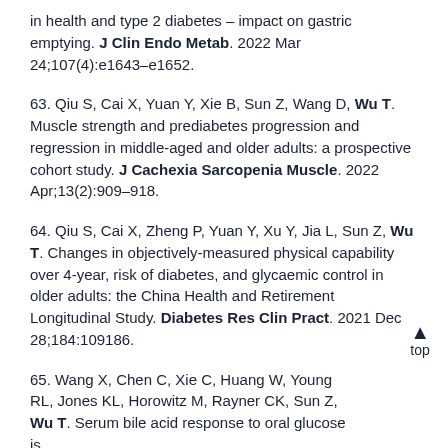in health and type 2 diabetes – impact on gastric emptying. J Clin Endo Metab. 2022 Mar 24;107(4):e1643–e1652.
63. Qiu S, Cai X, Yuan Y, Xie B, Sun Z, Wang D, Wu T. Muscle strength and prediabetes progression and regression in middle-aged and older adults: a prospective cohort study. J Cachexia Sarcopenia Muscle. 2022 Apr;13(2):909–918.
64. Qiu S, Cai X, Zheng P, Yuan Y, Xu Y, Jia L, Sun Z, Wu T. Changes in objectively-measured physical capability over 4-year, risk of diabetes, and glycaemic control in older adults: the China Health and Retirement Longitudinal Study. Diabetes Res Clin Pract. 2021 Dec 28;184:109186.
65. Wang X, Chen C, Xie C, Huang W, Young RL, Jones KL, Horowitz M, Rayner CK, Sun Z, Wu T. Serum bile acid response to oral glucose is